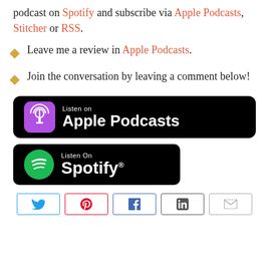podcast on Spotify and subscribe via Apple Podcasts, Stitcher or RSS.
Leave me a review in Apple Podcasts.
Join the conversation by leaving a comment below!
[Figure (logo): Listen on Apple Podcasts badge — black rounded rectangle with Apple Podcasts icon and white text]
[Figure (logo): Listen On Spotify badge — black rounded rectangle with Spotify green circle logo and white text]
Social share buttons: Twitter, Pinterest, Facebook, LinkedIn, Email